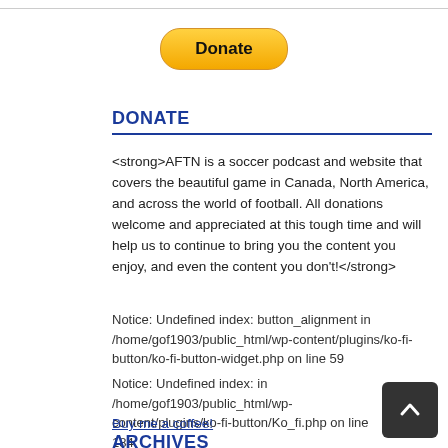[Figure (other): PayPal Donate button with yellow/gold rounded pill style]
DONATE
<strong>AFTN is a soccer podcast and website that covers the beautiful game in Canada, North America, and across the world of football. All donations welcome and appreciated at this tough time and will help us to continue to bring you the content you enjoy, and even the content you don't!</strong>
Notice: Undefined index: button_alignment in /home/gof1903/public_html/wp-content/plugins/ko-fi-button/ko-fi-button-widget.php on line 59
Notice: Undefined index: in /home/gof1903/public_html/wp-content/plugins/ko-fi-button/Ko_fi.php on line 184
Buy me a coffee!
ARCHIVES